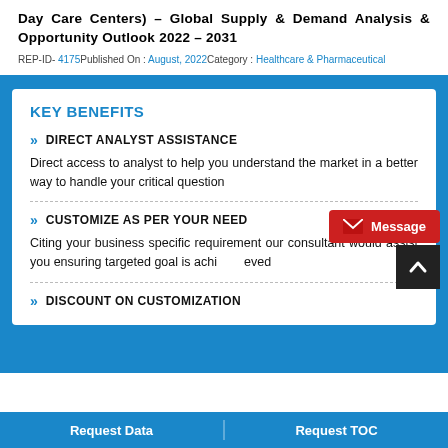Day Care Centers) – Global Supply & Demand Analysis & Opportunity Outlook 2022 – 2031
REP-ID- 4175Published On : August, 2022Category : Healthcare & Pharmaceutical
KEY BENEFITS
DIRECT ANALYST ASSISTANCE
Direct access to analyst to help you understand the market in a better way to handle your critical question
CUSTOMIZE AS PER YOUR NEED
Citing your business specific requirement our consultant would assist you ensuring targeted goal is achieved
DISCOUNT ON CUSTOMIZATION